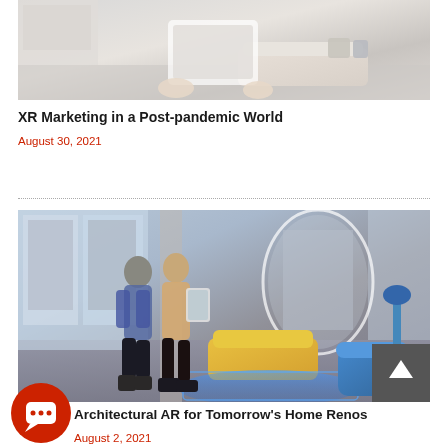[Figure (photo): Hand holding a tablet in front of an AR-overlaid living room scene with white kitchen and beige sofa]
XR Marketing in a Post-pandemic World
August 30, 2021
[Figure (photo): Two people standing in a bright modern room looking at a tablet, with AR-visualized yellow and blue furniture and glowing blue floor projection]
Architectural AR for Tomorrow's Home Renos
August 2, 2021